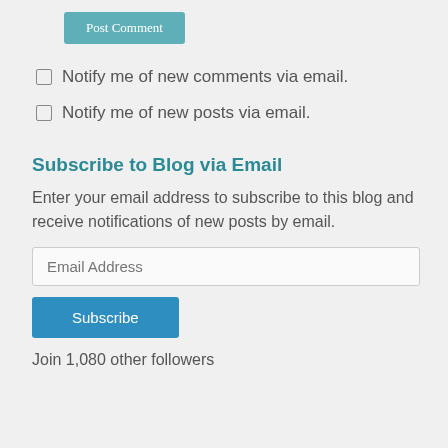Post Comment
Notify me of new comments via email.
Notify me of new posts via email.
Subscribe to Blog via Email
Enter your email address to subscribe to this blog and receive notifications of new posts by email.
Email Address
Subscribe
Join 1,080 other followers